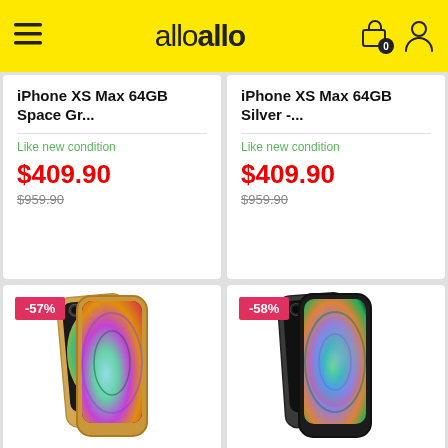alloallo
iPhone XS Max 64GB Space Gr...
Like new condition
$409.90
$959.90
iPhone XS Max 64GB Silver -...
Like new condition
$409.90
$959.90
[Figure (photo): iPhone XS Max gold color phone product photo with -57% discount badge]
iPhone XS Max 64GB
[Figure (photo): iPhone XS Max space gray phone product photo with -58% discount badge]
iPhone XS Max